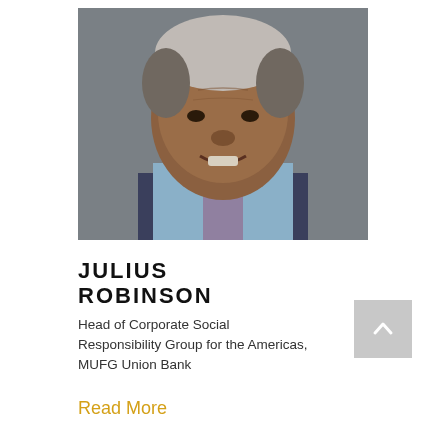[Figure (photo): Headshot portrait of Julius Robinson, an older African-American man with gray hair wearing a dark suit and light blue shirt, smiling, against a gray background.]
JULIUS ROBINSON
Head of Corporate Social Responsibility Group for the Americas, MUFG Union Bank
Read More